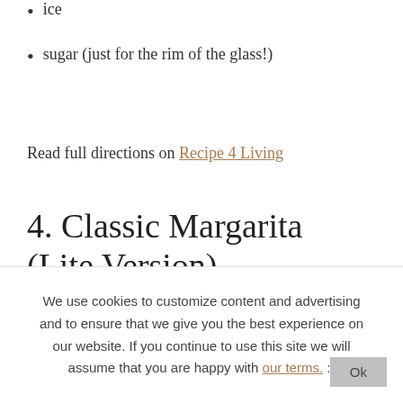ice
sugar (just for the rim of the glass!)
Read full directions on Recipe 4 Living
4. Classic Margarita (Lite Version)
[Figure (photo): Close-up photo of lime slices with green and white tones, blurred background with light blue sky]
We use cookies to customize content and advertising and to ensure that we give you the best experience on our website. If you continue to use this site we will assume that you are happy with our terms. :)